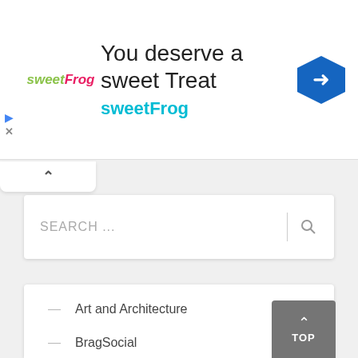[Figure (screenshot): SweetFrog ad banner with logo, headline 'You deserve a sweet Treat', brand name 'sweetFrog', and navigation icon]
SEARCH ...
— Art and Architecture
— BragSocial
— Business
— Career
— Education
— Entertainment